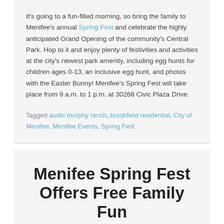It's going to a fun-filled morning, so bring the family to Menifee's annual Spring Fest and celebrate the highly anticipated Grand Opening of the community's Central Park. Hop to it and enjoy plenty of festivities and activities at the city's newest park amenity, including egg hunts for children ages 0-13, an inclusive egg hunt, and photos with the Easter Bunny! Menifee's Spring Fest will take place from 9 a.m. to 1 p.m. at 30268 Civic Plaza Drive.
Tagged audie murphy ranch, brookfield residential, City of Menifee, Menifee Events, Spring Fest
Menifee Spring Fest Offers Free Family Fun
Posted on March 14, 2019